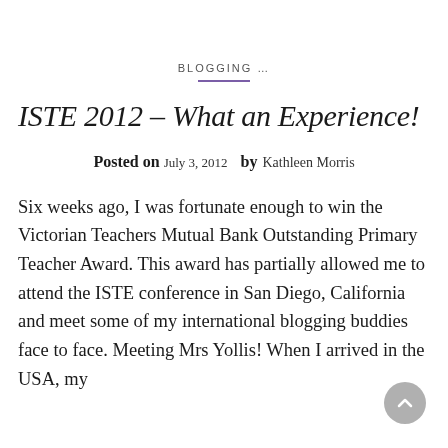BLOGGING ...
ISTE 2012 – What an Experience!
Posted on July 3, 2012  by Kathleen Morris
Six weeks ago, I was fortunate enough to win the Victorian Teachers Mutual Bank Outstanding Primary Teacher Award. This award has partially allowed me to attend the ISTE conference in San Diego, California and meet some of my international blogging buddies face to face. Meeting Mrs Yollis! When I arrived in the USA, my